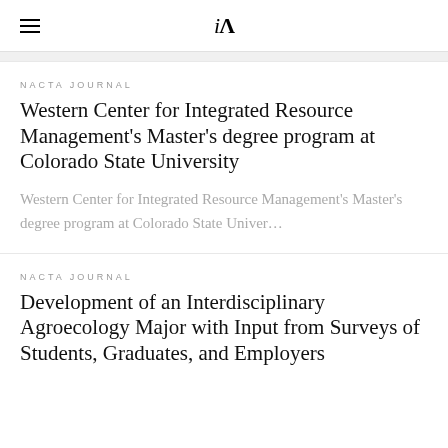iA
NACTA JOURNAL
Western Center for Integrated Resource Management's Master's degree program at Colorado State University
Western Center for Integrated Resource Management's Master's degree program at Colorado State Univer…
NACTA JOURNAL
Development of an Interdisciplinary Agroecology Major with Input from Surveys of Students, Graduates, and Employers